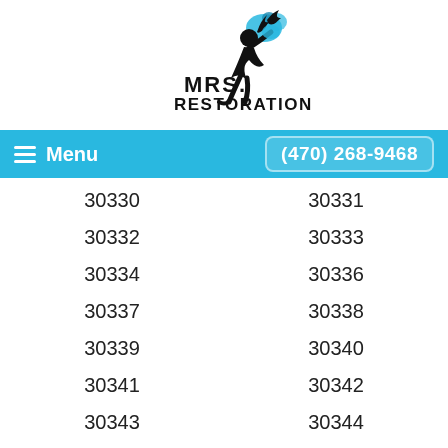[Figure (logo): Mrs. Restoration logo with running figure silhouette in black and blue, with text MRS. RESTORATION]
Menu   (470) 268-9468
| 30330 | 30331 |
| 30332 | 30333 |
| 30334 | 30336 |
| 30337 | 30338 |
| 30339 | 30340 |
| 30341 | 30342 |
| 30343 | 30344 |
| 30345 | 30346 |
| 30347 | 30348 |
| 30349 | 30350 |